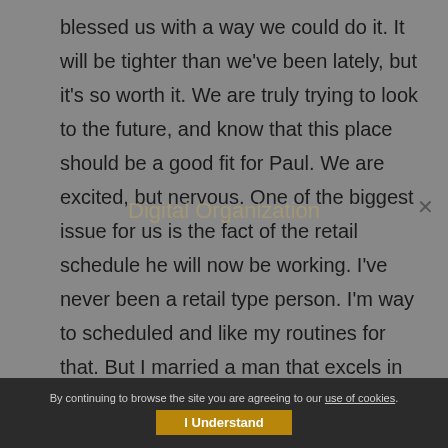blessed us with a way we could do it.  It will be tighter than we've been lately, but it's so worth it.  We are truly trying to look to the future, and know that this place should be a good fit for Paul.  We are excited, but nervous.  One of the biggest issue for us is the fact of the retail schedule he will now be working.  I've never been a retail type person.  I'm way to scheduled and like my routines for that.  But I married a man that excels in retail  Customer service is truly his strong point.  He is such a people person, and really likes helping people.  Plus, when he worked at the little grocery store in the small town we us to live in, he really enjoyed the...
By continuing to browse the site you are agreeing to our use of cookies.
I Understand